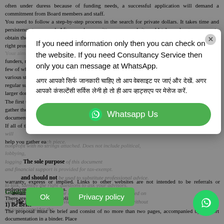often under duress because of funding needs, a successful application will demand a commitment from Board members and staff. You need to follow a step-by-step process in the search for private dollars. It takes time and persistence to succeed. After you have written a proposal, it could take as long as a year to obtain the funds needed to carry it out. And even a perfectly written proposal submitted to the right prospect may be rejected. Raising funds is an investment in the future. Your aim should be to build a network of foundation and corporate funders, many of which give limited amounts and some of which give a few of which give larger ones, taking your organization through the various steps of the relationship-building process, from prospects to regular supporters and to larger donors.
The first thing you want to do before you sit down to write is to gather the documents and information. It is helpful to have all documentation in three-ring binders, organized by category. If all of this information does not yet exist in your organization, it will help you gather each piece.
nonprofit with no strings attached. Does not include political, lobbying, and financial support is provided for tax-exempt. The sole purpose and should not be used to substitute professional advice. Use it to talk, identify the right questions to ask your advisors. assumes no liability for actions taken or not taken based on the information the information provided herein is provided 'as is' without warranty, seriously consider the
warranty, express or implied. Links to other websites are not intended to be referrals or endorsements of those sites.
Guidelines
There are some basic guidelines that you must follow:
1) Be Brief
The proposal must be brief and consist of no more than two pages, accompanied by support documentation in a binder. Place